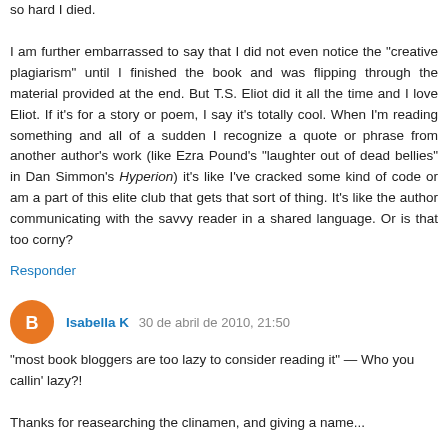so hard I died.

I am further embarrassed to say that I did not even notice the "creative plagiarism" until I finished the book and was flipping through the material provided at the end. But T.S. Eliot did it all the time and I love Eliot. If it's for a story or poem, I say it's totally cool. When I'm reading something and all of a sudden I recognize a quote or phrase from another author's work (like Ezra Pound's "laughter out of dead bellies" in Dan Simmon's Hyperion) it's like I've cracked some kind of code or am a part of this elite club that gets that sort of thing. It's like the author communicating with the savvy reader in a shared language. Or is that too corny?
Responder
Isabella K  30 de abril de 2010, 21:50
"most book bloggers are too lazy to consider reading it" — Who you callin' lazy?!

Thanks for reasearching the clinamen, and giving a name...